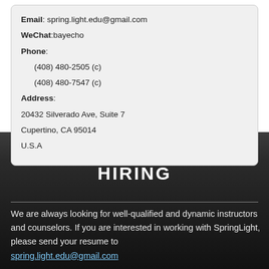Email: spring.light.edu@gmail.com
WeChat:bayecho
Phone:
(408) 480-2505 (c)
(408) 480-7547 (c)
Address:
20432 Silverado Ave, Suite 7
Cupertino, CA 95014
U.S.A
HIRING
We are always looking for well-qualified and dynamic instructors and counselors. If you are interested in working with SpringLight, please send your resume to spring.light.edu@gmail.com